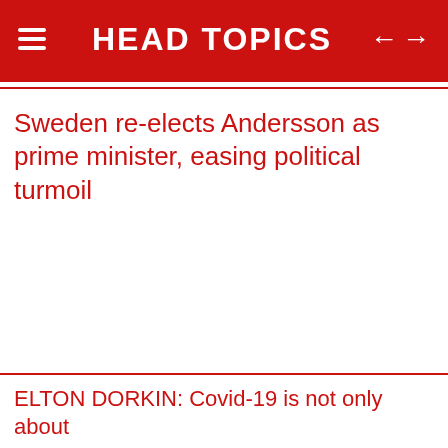HEAD TOPICS
Sweden re-elects Andersson as prime minister, easing political turmoil
ELTON DORKIN: Covid-19 is not only about